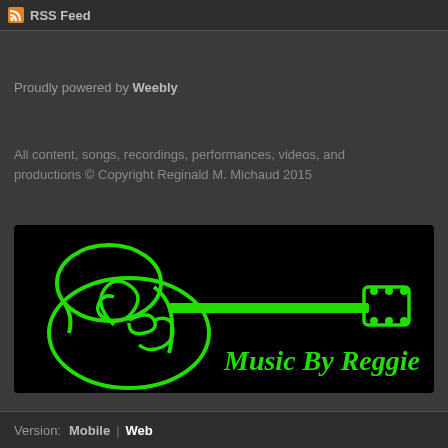RSS Feed
Proudly powered by Weebly
All content, songs, recordings, performances, videos, and productions © Copyright Reginald M. Michaud 2015
[Figure (logo): Music By Reggie logo — green neon guitar outline on black background with stylized 'reg' text and 'Music By Reggie' text in green italic font]
Version: Mobile | Web